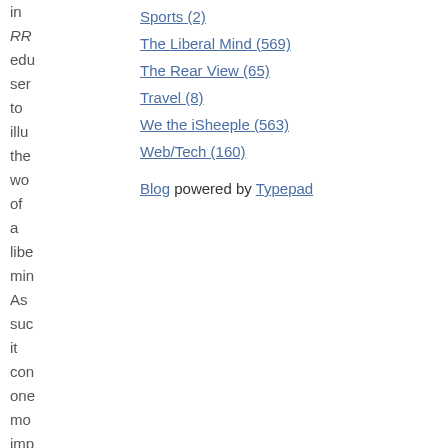in RR edu ser to illu the wo of a libe min As suc it con one mo imp illu of ho the
Sports (2)
The Liberal Mind (569)
The Rear View (65)
Travel (8)
We the iSheeple (563)
Web/Tech (160)
Blog powered by Typepad